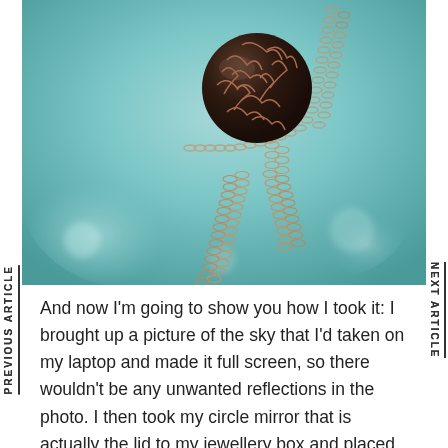[Figure (photo): Close-up macro photograph of a decorative jewellery piece: a dark ornate ball pendant with copper/rose-gold filigree veining, attached to a rose-gold chain-link necklace, set against a teal/turquoise blurred background.]
And now I'm going to show you how I took it: I brought up a picture of the sky that I'd taken on my laptop and made it full screen, so there wouldn't be any unwanted reflections in the photo. I then took my circle mirror that is actually the lid to my jewellery box and placed